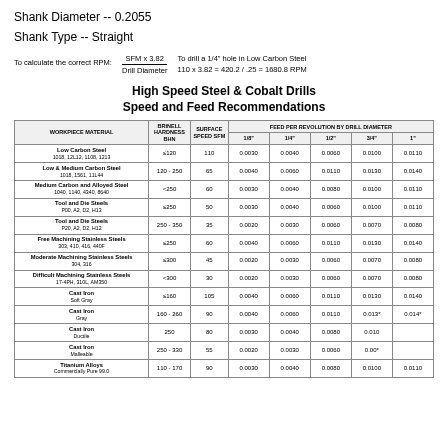Shank Diameter -- 0.2055
Shank Type -- Straight
To calculate the correct RPM: SFM x 3.82 / Drill Diameter. To drill a 1/4" hole in Low Carbon Steel 110 x 3.82 = 420.2 / .25 = 1680.8 RPM
High Speed Steel & Cobalt Drills Speed and Feed Recommendations
| Workpiece Material | Brinell Hardness BHN | Surface Speed SFM | 1/8" | 1/4" | 1/2" | 3/4" | 1" |
| --- | --- | --- | --- | --- | --- | --- | --- |
| Low Carbon Steel 1018, 12L12, 1108, 1213 | ≤120 | 110 | 0.0030 | 0.0040 | 0.0060 | 0.0100 | 0.0110 |
| Low & Medium Carbon Steel 1018, 1561, 11L44 | 120 - 250 | 65 | 0.0040 | 0.0060 | 0.0110 | 0.0130 | 0.0140 |
| Medium Carbon and Alloyed Steel 1040, 1140, 4340, 8640 | <250 | 60 | 0.0030 | 0.0040 | 0.0080 | 0.0100 | 0.0110 |
| Tool and Die Steels P00, A2, D2, H13 | ≤250 | 50 | 0.0030 | 0.0040 | 0.0060 | 0.0100 | 0.0110 |
| Tool and Die Steels P20, A2, D2, H12 | 250 - 350 | 35 | 0.0020 | 0.0030 | 0.0060 | 0.0070 | 0.0080 |
| Free Machining Stainless Steels 303, 410, 416, 440F | ≤250 | 60 | 0.0040 | 0.0060 | 0.0110 | 0.0130 | 0.0140 |
| Moderate Machining Stainless Steels 304, 316 | ≤300 | 45 | 0.0020 | 0.0030 | 0.0060 | 0.0070 | 0.0080 |
| Difficult Machining Stainless Steels 17-4PH, 310L, AM350 | <300 | 30 | 0.0020 | 0.0030 | 0.0060 | 0.0070 | 0.0080 |
| Cast Iron Soft Gray | ≤160 | 105 | 0.0040 | 0.0060 | 0.0110 | 0.0130 | 0.0140 |
| Cast Iron Gray | 160 - 260 | 90 | 0.0040 | 0.0060 | 0.0110 | 0.013* | 0.014* |
| Cast Iron Ductile | 250 | 80 | 0.0030 | 0.0040 | 0.0080 | 0.010 |  |
| Cast Iron Malleable | 250 - 330 | 55 | 0.0020 | 0.0030 | 0.0060 | 0.00* |  |
| Titanium Alloys Commercially Pure 99.0 | 110 - 170 | 90 | 0.0030 | 0.0040 | 0.0080 | 0.0100 | 0.0110 |